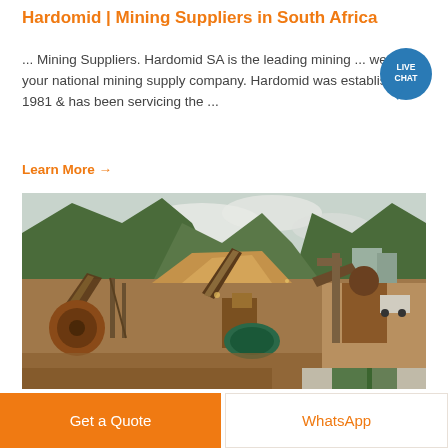Hardomid | Mining Suppliers in South Africa
... Mining Suppliers. Hardomid SA is the leading mining ... we are your national mining supply company. Hardomid was established in 1981 & has been servicing the ...
Learn More →
[Figure (photo): Aerial/ground level view of a mining and ore crushing facility with conveyor belts, industrial machinery, orange/rust-colored equipment, with green mountainous terrain and overcast sky in the background.]
Get a Quote
WhatsApp